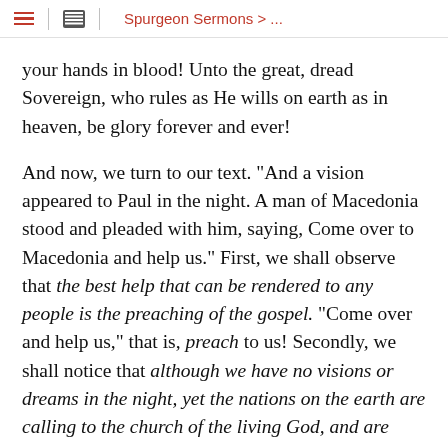Spurgeon Sermons > ...
your hands in blood! Unto the great, dread Sovereign, who rules as He wills on earth as in heaven, be glory forever and ever!
And now, we turn to our text. "And a vision appeared to Paul in the night. A man of Macedonia stood and pleaded with him, saying, Come over to Macedonia and help us." First, we shall observe that the best help that can be rendered to any people is the preaching of the gospel. "Come over and help us," that is, preach to us! Secondly, we shall notice that although we have no visions or dreams in the night, yet the nations on the earth are calling to the church of the living God, and are saying to us, "Come over to us, and help us." And then, thirdly, I shall conclude by solemnly asking the question, what do you who love the Lord intend to say